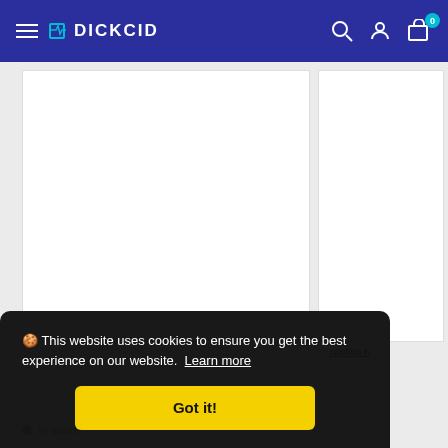DICKCID — navigation bar with hamburger menu, logo, search, account, and cart icons
[Figure (screenshot): White product image panel on left side of page]
[Figure (screenshot): White product image panel on right side of page]
rawling K
In stock
🍪 This website uses cookies to ensure you get the best experience on our website. Learn more
Got it!